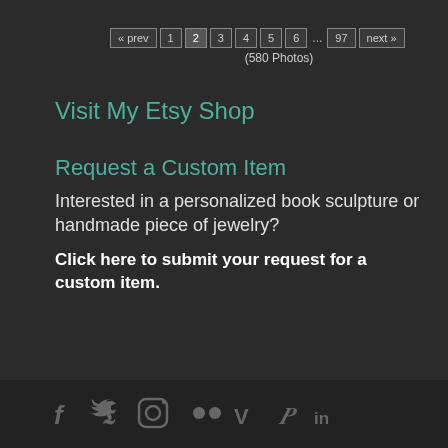« prev  1  2  3  4  5  6  ...  97  next »
(580 Photos)
Visit My Etsy Shop
Request a Custom Item
Interested in a personalized book sculpture or handmade piece of jewelry?
Click here to submit your request for a custom item.
[social icons: Facebook, Twitter, Instagram, Flickr, Vimeo, Pinterest, LinkedIn]